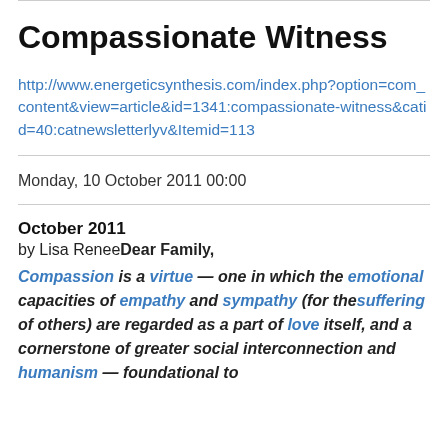Compassionate Witness
http://www.energeticsynthesis.com/index.php?option=com_content&view=article&id=1341:compassionate-witness&catid=40:catnewsletterlyv&Itemid=113
Monday, 10 October 2011 00:00
October 2011
by Lisa ReneeDear Family,
Compassion is a virtue — one in which the emotional capacities of empathy and sympathy (for the suffering of others) are regarded as a part of love itself, and a cornerstone of greater social interconnection and humanism — foundational to